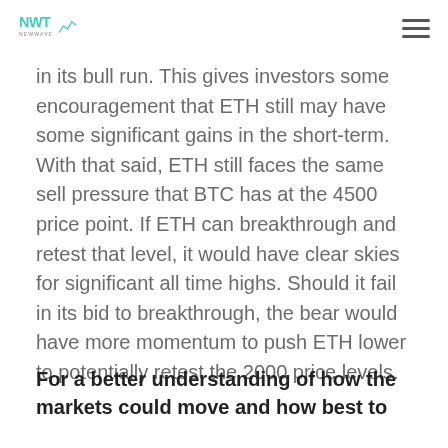NWT NewWave logo and navigation
in its bull run. This gives investors some encouragement that ETH still may have some significant gains in the short-term. With that said, ETH still faces the same sell pressure that BTC has at the 4500 price point. If ETH can breakthrough and retest that level, it would have clear skies for significant all time highs. Should it fail in its bid to breakthrough, the bear would have more momentum to push ETH lower to potentially retest the 2000 price levels.
For a better understanding of how the markets could move and how best to